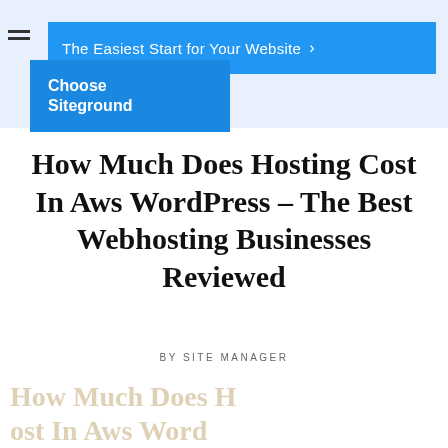[Figure (screenshot): Website navigation banner with blue background showing 'The Easiest Start for Your Website' text with a right arrow, and a darker blue button labeled 'Choose Siteground']
How Much Does Hosting Cost In Aws WordPress – The Best Webhosting Businesses Reviewed
BY SITE MANAGER
Faded watermark/background text (partially visible at bottom)